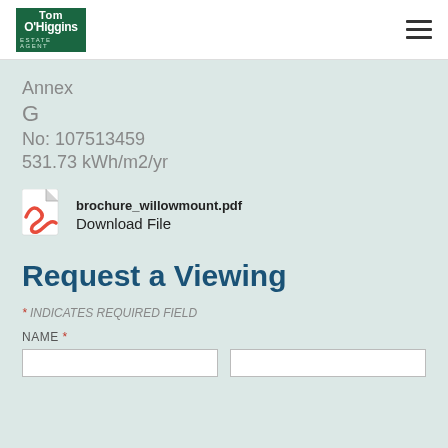Tom O'Higgins Estate Agent
Annex
G
No: 107513459
531.73 kWh/m2/yr
[Figure (other): PDF file icon (Adobe Acrobat style, red and white)]
brochure_willowmount.pdf
Download File
Request a Viewing
* INDICATES REQUIRED FIELD
NAME *